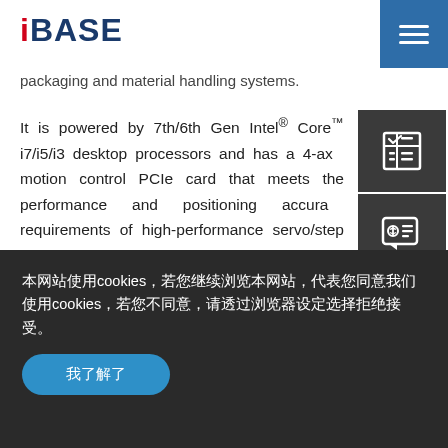iBASE
packaging and material handling systems.
It is powered by 7th/6th Gen Intel® Core™ i7/i5/i3 desktop processors and has a 4-axis motion control PCIe card that meets the performance and positioning accuracy requirements of high-performance servo/step motors. For use in visual inspection...
[Figure (other): Side panel with three dark icon boxes: a checklist/table icon, a price quote speech bubble icon, and a partial circular arrow (back/refresh) icon]
本网站使用cookies，若您继续浏览本网站，代表您同意我们使用cookies，若您不同意，请透过浏览器设定选择拒绝接受。
我了解了